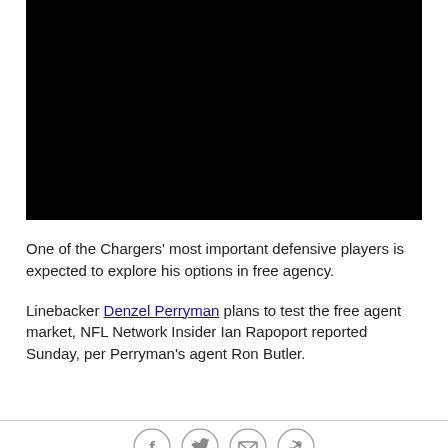[Figure (photo): Black rectangle representing a video or photo of a Chargers player, content not visible]
One of the Chargers' most important defensive players is expected to explore his options in free agency.
Linebacker Denzel Perryman plans to test the free agent market, NFL Network Insider Ian Rapoport reported Sunday, per Perryman's agent Ron Butler.
[Figure (infographic): Social sharing icons: Facebook, Twitter, Email, Link]